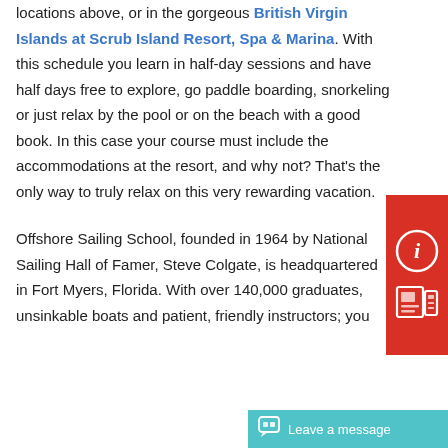locations above, or in the gorgeous British Virgin Islands at Scrub Island Resort, Spa & Marina. With this schedule you learn in half-day sessions and have half days free to explore, go paddle boarding, snorkeling or just relax by the pool or on the beach with a good book. In this case your course must include the accommodations at the resort, and why not? That's the only way to truly relax on this very rewarding vacation.
Offshore Sailing School, founded in 1964 by National Sailing Hall of Famer, Steve Colgate, is headquartered in Fort Myers, Florida. With over 140,000 graduates, unsinkable boats and patient, friendly instructors; you...